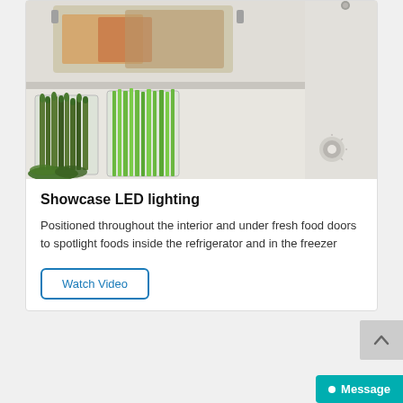[Figure (photo): Interior of refrigerator showing glass trays with food, clear containers with asparagus and green onions, white refrigerator walls, and a small metal light fixture]
Showcase LED lighting
Positioned throughout the interior and under fresh food doors to spotlight foods inside the refrigerator and in the freezer